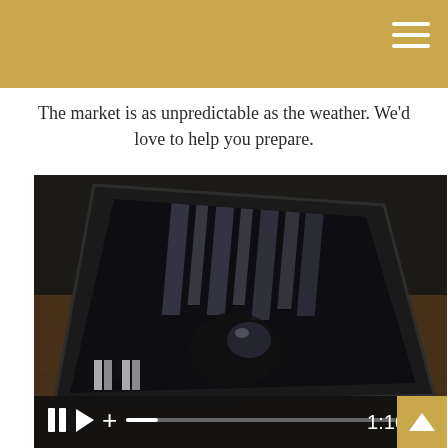The market is as unpredictable as the weather. We'd love to help you prepare.
[Figure (screenshot): Video player showing a tablet device on a wooden surface displaying a dark interior scene. Video controls at bottom show pause, play, plus/volume, a progress bar, and a timestamp of 1:16.]